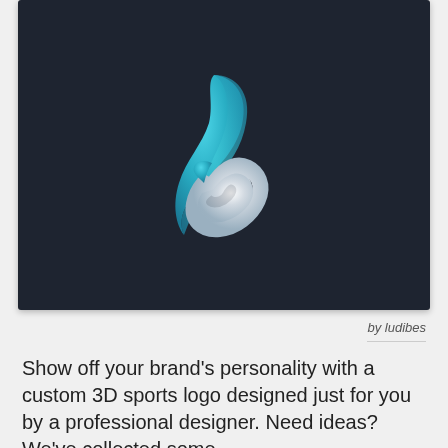[Figure (logo): A 3D sports logo on a dark navy background. The logo features two intertwined swoosh/ribbon shapes forming an abstract figure — one in teal/cyan blue and one in white/silver, resembling stylized letters or an infinity-like athletic mark.]
by ludibes
Show off your brand's personality with a custom 3D sports logo designed just for you by a professional designer. Need ideas? We've collected some